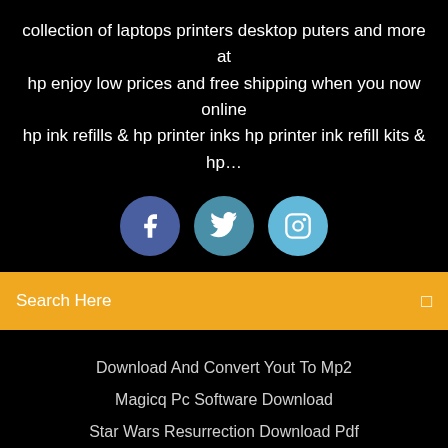collection of laptops printers desktop puters and more at hp enjoy low prices and free shipping when you now online hp ink refills & hp printer inks hp printer ink refill kits & hp…
[Figure (illustration): Three social media icon circles: Facebook (dark blue), Twitter (teal/blue), Instagram (light blue)]
Search Here
Download And Convert Yout To Mp2
Magicq Pc Software Download
Star Wars Resurrection Download Pdf
How To Download Videos In Pc
Copyright ©2022 All rights reserved | This template is made with ♡ by Colorlib